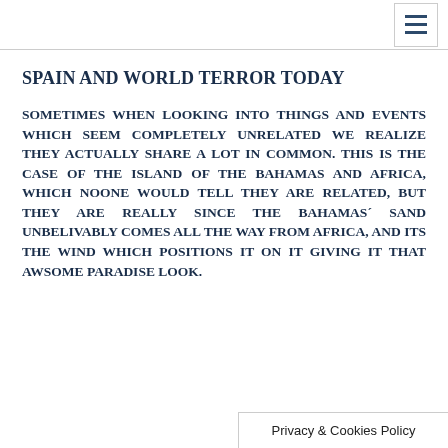☰
SPAIN AND WORLD TERROR TODAY
SOMETIMES WHEN LOOKING INTO THINGS AND EVENTS WHICH SEEM COMPLETELY UNRELATED WE REALIZE THEY ACTUALLY SHARE A LOT IN COMMON. THIS IS THE CASE OF THE ISLAND OF THE BAHAMAS AND AFRICA, WHICH NOONE WOULD TELL THEY ARE RELATED, BUT THEY ARE REALLY SINCE THE BAHAMAS´ SAND UNBELIVABLY COMES ALL THE WAY FROM AFRICA, AND ITS THE WIND WHICH POSITIONS IT ON IT GIVING IT THAT AWSOME PARADISE LOOK.
Privacy & Cookies Policy